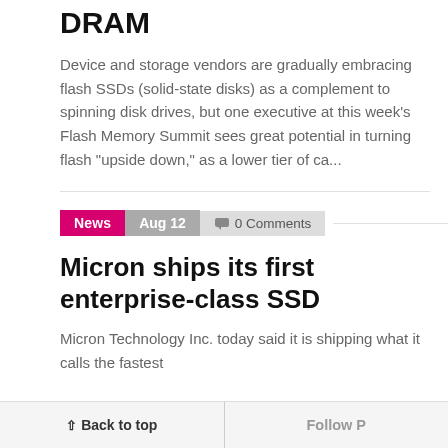DRAM
Device and storage vendors are gradually embracing flash SSDs (solid-state disks) as a complement to spinning disk drives, but one executive at this week's Flash Memory Summit sees great potential in turning flash "upside down," as a lower tier of ca...
slownes
To unders the tiny, fi utility/dri little back One netbe a hard dri custom Li
News  Aug 12  🗨 0 Comments
Micron ships its first enterprise-class SSD
Micron Technology Inc. today said it is shipping what it calls the fastest
Features
Seagate drives b enterpri
Seagate ju SSD (solid
↑ Back to top   Follow P